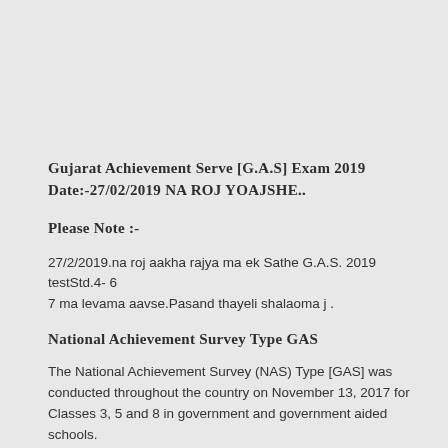Gujarat Achievement Serve [G.A.S] Exam 2019 Date:-27/02/2019 NA ROJ YOAJSHE..
Please Note :-
27/2/2019.na roj aakha rajya ma ek Sathe G.A.S. 2019 testStd.4- 6 7 ma levama aavse.Pasand thayeli shalaoma j .
National Achievement Survey Type GAS
The National Achievement Survey (NAS) Type [GAS] was conducted throughout the country on November 13, 2017 for Classes 3, 5 and 8 in government and government aided schools. The survey tools used multiple test booklets with 45 questions in Classes III and V and 60 questions in Class VIII in